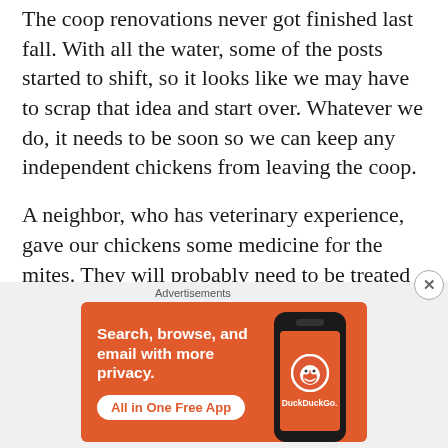The coop renovations never got finished last fall. With all the water, some of the posts started to shift, so it looks like we may have to scrap that idea and start over. Whatever we do, it needs to be soon so we can keep any independent chickens from leaving the coop.
A neighbor, who has veterinary experience, gave our chickens some medicine for the mites. They will probably need to be treated again though. She said the coop will need to be scrubbed out because they live in the wood.
[Figure (other): DuckDuckGo advertisement banner. Orange background with white bold text: 'Search, browse, and email with more privacy.' White button with orange text: 'All in One Free App'. Right side shows a smartphone displaying the DuckDuckGo logo and app name.]